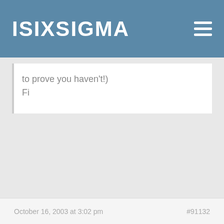ISIXSIGMA
to prove you haven't!)
Fi
October 16, 2003 at 3:02 pm  #91132